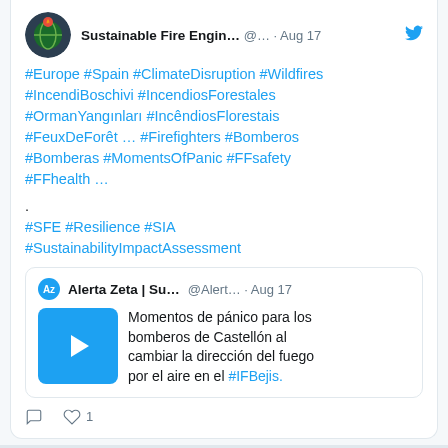[Figure (screenshot): Twitter/social media screenshot showing a tweet from 'Sustainable Fire Engin...' (@... Aug 17) with hashtags about wildfires in Europe, and a quoted tweet from 'Alerta Zeta | Su...' (@Alert... Aug 17) with a video thumbnail and Spanish text about firefighters in Castellón.]
#Europe #Spain #ClimateDisruption #Wildfires #IncendiBoschivi #IncendiosForestales #OrmanYangınları #IncêndiosFlorestais #FeuxDeForêt ... #Firefighters #Bomberos #Bomberas #MomentsOfPanic #FFsafety #FFhealth ...
.
#SFE #Resilience #SIA #SustainabilityImpactAssessment
Momentos de pánico para los bomberos de Castellón al cambiar la dirección del fuego por el aire en el #IFBejis.
MUSIC WHILE YOU BROWSE